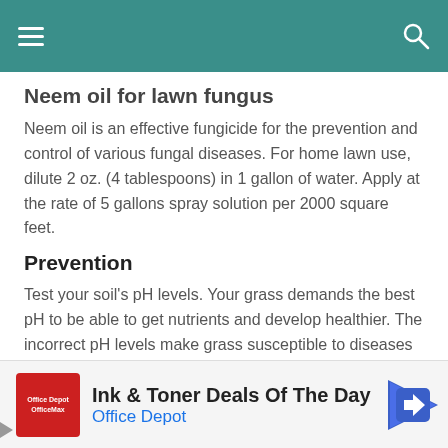Neem oil for lawn fungus
Neem oil is an effective fungicide for the prevention and control of various fungal diseases. For home lawn use, dilute 2 oz. (4 tablespoons) in 1 gallon of water. Apply at the rate of 5 gallons spray solution per 2000 square feet.
Prevention
Test your soil's pH levels. Your grass demands the best pH to be able to get nutrients and develop healthier. The incorrect pH levels make grass susceptible to diseases and unable to fight them off. Adjust pH levels by iring a bag of limestone out of your nearby house
[Figure (screenshot): Advertisement banner for Office Depot featuring Ink & Toner Deals Of The Day with Office Depot logo and navigation arrow icon]